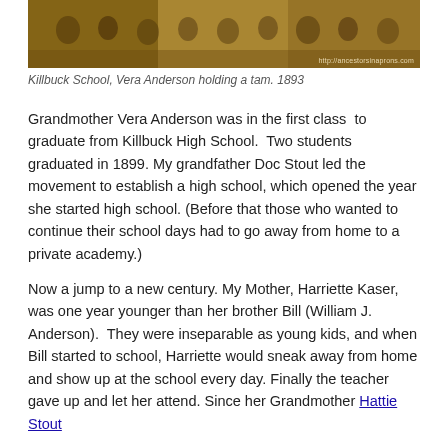[Figure (photo): Sepia-toned historical photograph of Killbuck School, 1893, showing a group of students. A watermark reads http://ancestorsinaprons.com]
Killbuck School, Vera Anderson holding a tam. 1893
Grandmother Vera Anderson was in the first class to graduate from Killbuck High School.  Two students graduated in 1899. My grandfather Doc Stout led the movement to establish a high school, which opened the year she started high school. (Before that those who wanted to continue their school days had to go away from home to a private academy.)
Now a jump to a new century. My Mother, Harriette Kaser, was one year younger than her brother Bill (William J. Anderson).  They were inseparable as young kids, and when Bill started to school, Harriette would sneak away from home and show up at the school every day. Finally the teacher gave up and let her attend. Since her Grandmother Hattie Stout